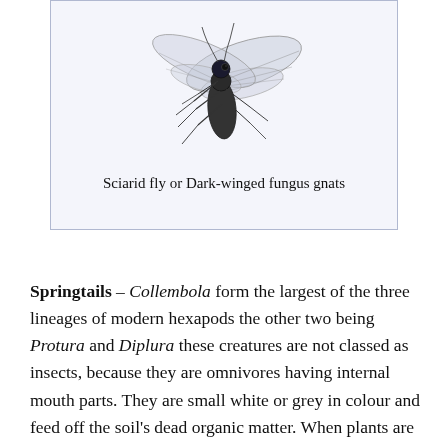[Figure (photo): Close-up photo of a Sciarid fly (Dark-winged fungus gnat) on a white background, showing detailed wing venation and body structure]
Sciarid fly or Dark-winged fungus gnats
Springtails – Collembola form the largest of the three lineages of modern hexapods the other two being Protura and Diplura these creatures are not classed as insects, because they are omnivores having internal mouth parts. They are small white or grey in colour and feed off the soil's dead organic matter. When plants are watered and springtails are present, they